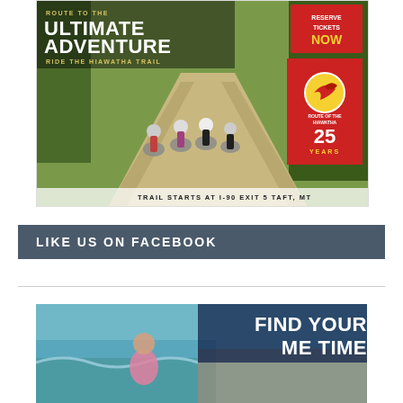[Figure (photo): Advertisement for Route of the Hiawatha trail bike ride. Shows cyclists on a trail path with text 'ROUTE TO THE ULTIMATE ADVENTURE - RIDE THE HIAWATHA TRAIL'. Red box says 'RESERVE TICKETS NOW'. Badge shows '25 YEARS' logo. Bottom text: 'TRAIL STARTS AT I-90 EXIT 5 TAFT, MT']
LIKE US ON FACEBOOK
[Figure (photo): Advertisement showing water/beach scene with text 'FIND YOUR ME TIME']